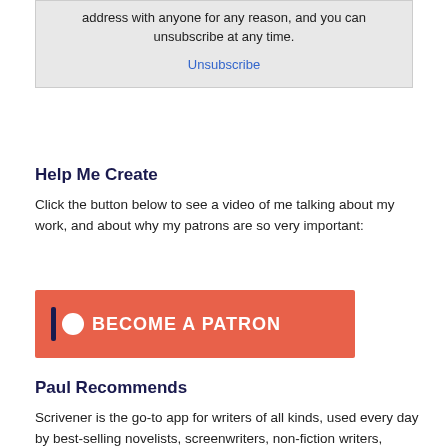address with anyone for any reason, and you can unsubscribe at any time.
Unsubscribe
Help Me Create
Click the button below to see a video of me talking about my work, and about why my patrons are so very important:
[Figure (other): Red Patreon button with bar and circle icon, text: BECOME A PATRON]
Paul Recommends
Scrivener is the go-to app for writers of all kinds, used every day by best-selling novelists, screenwriters, non-fiction writers, students, academics, lawyers, journalists, translators and more (including yours truly). Scrivener won't tell you how to write—it simply provides everything you need to start